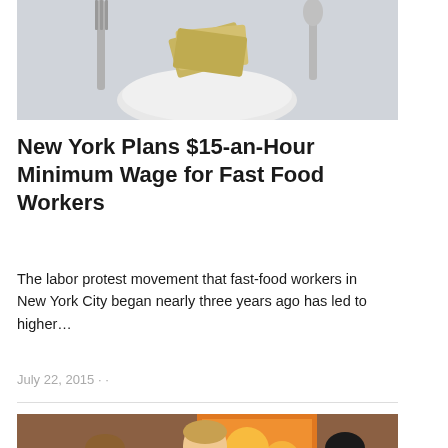[Figure (photo): Top portion of a photo showing a plate with money and utensils on a light background, partially cropped]
New York Plans $15-an-Hour Minimum Wage for Fast Food Workers
The labor protest movement that fast-food workers in New York City began nearly three years ago has led to higher…
July 22, 2015 · ·
[Figure (photo): Photo of three restaurant workers in white shirts and dark ties standing at a counter in an orange-accented restaurant setting]